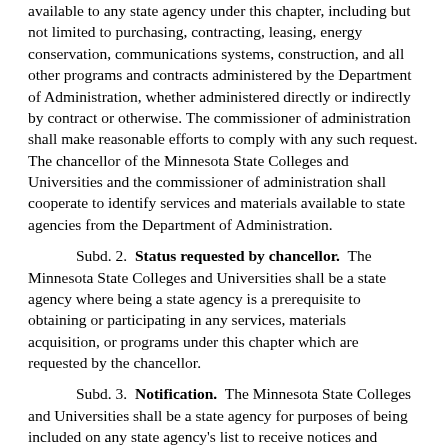available to any state agency under this chapter, including but not limited to purchasing, contracting, leasing, energy conservation, communications systems, construction, and all other programs and contracts administered by the Department of Administration, whether administered directly or indirectly by contract or otherwise. The commissioner of administration shall make reasonable efforts to comply with any such request. The chancellor of the Minnesota State Colleges and Universities and the commissioner of administration shall cooperate to identify services and materials available to state agencies from the Department of Administration.
Subd. 2. Status requested by chancellor. The Minnesota State Colleges and Universities shall be a state agency where being a state agency is a prerequisite to obtaining or participating in any services, materials acquisition, or programs under this chapter which are requested by the chancellor.
Subd. 3. Notification. The Minnesota State Colleges and Universities shall be a state agency for purposes of being included on any state agency's list to receive notices and information appropriate to the purposes of the Minnesota